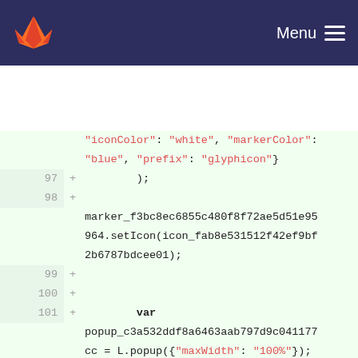GitLab — Menu
[Figure (screenshot): Code diff view showing JavaScript code lines 97-104 with added lines marked with + signs on a light green background]
"iconColor": "white", "markerColor": "blue", "prefix": "glyphicon"}
97 + );
98 +
marker_f3bc8ec6855c480f8f72ae5d51e95964.setIcon(icon_fab8e531512f42ef9bf2b6787bdcee01);
99 +
100 +
101 + var popup_c3a532ddf8a6463aab797d9c041177cc = L.popup({"maxWidth": "100%"});
102 +
103 +
104 + var html_5e16db12f62349ad97ef699cc024988b = $(`<div id="html_5e16db12f62349ad97ef699cc024988b" style="width: 100.0%; height: 100.0%;">GCLA</div>`)[0];